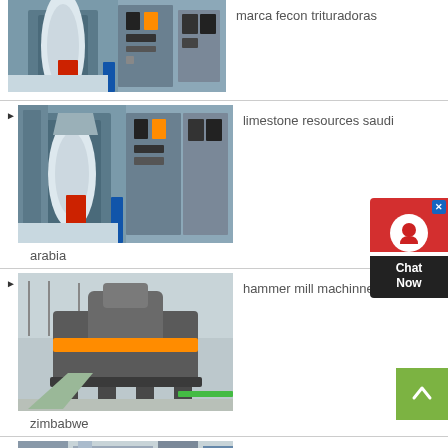[Figure (photo): Industrial grinding mill machinery in a factory setting with control panels]
marca fecon trituradoras
[Figure (photo): Industrial grinding mill machinery similar to the first, in a factory setting]
limestone resources saudi arabia
[Figure (photo): Large grey industrial VSI crusher/hammer mill machine on factory floor]
hammer mill machinnery in zimbabwe
[Figure (photo): Another industrial machinery photo partially visible at the bottom]